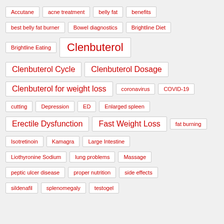Accutane
acne treatment
belly fat
benefits
best belly fat burner
Bowel diagnostics
Brightline Diet
Brightline Eating
Clenbuterol
Clenbuterol Cycle
Clenbuterol Dosage
Clenbuterol for weight loss
coronavirus
COVID-19
cutting
Depression
ED
Enlarged spleen
Erectile Dysfunction
Fast Weight Loss
fat burning
Isotretinoin
Kamagra
Large Intestine
Liothyronine Sodium
lung problems
Massage
peptic ulcer disease
proper nutrition
side effects
sildenafil
splenomegaly
testogel